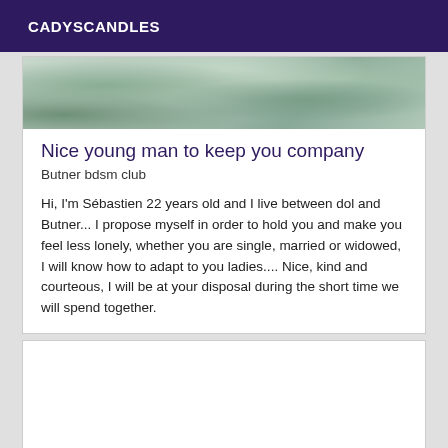CADYSCANDLES
[Figure (photo): Photo of mossy or rocky terrain with green and grey tones, serving as a card header image.]
Nice young man to keep you company
Butner bdsm club
Hi, I'm Sébastien 22 years old and I live between dol and Butner... I propose myself in order to hold you and make you feel less lonely, whether you are single, married or widowed, I will know how to adapt to you ladies.... Nice, kind and courteous, I will be at your disposal during the short time we will spend together.